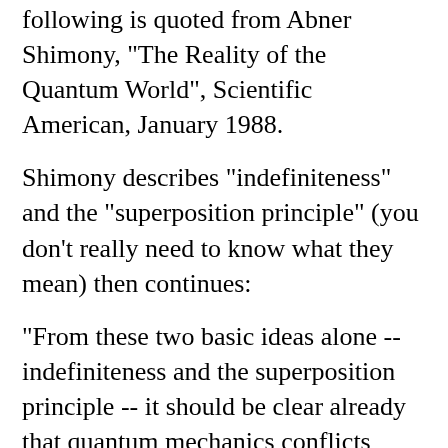following is quoted from Abner Shimony, "The Reality of the Quantum World", Scientific American, January 1988.
Shimony describes "indefiniteness" and the "superposition principle" (you don't really need to know what they mean) then continues:
"From these two basic ideas alone -- indefiniteness and the superposition principle -- it should be clear already that quantum mechanics conflicts sharply with common sense. If the quantum state of a system is a complete description of the system, then a quantity that has an indefinite value in that quantum state is objectively